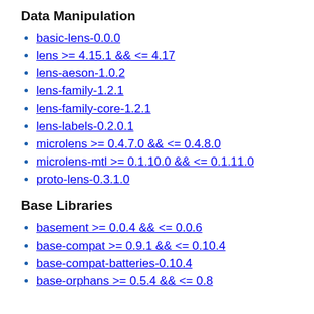Data Manipulation
basic-lens-0.0.0
lens >= 4.15.1 && <= 4.17
lens-aeson-1.0.2
lens-family-1.2.1
lens-family-core-1.2.1
lens-labels-0.2.0.1
microlens >= 0.4.7.0 && <= 0.4.8.0
microlens-mtl >= 0.1.10.0 && <= 0.1.11.0
proto-lens-0.3.1.0
Base Libraries
basement >= 0.0.4 && <= 0.0.6
base-compat >= 0.9.1 && <= 0.10.4
base-compat-batteries-0.10.4
base-orphans >= 0.5.4 && <= 0.8